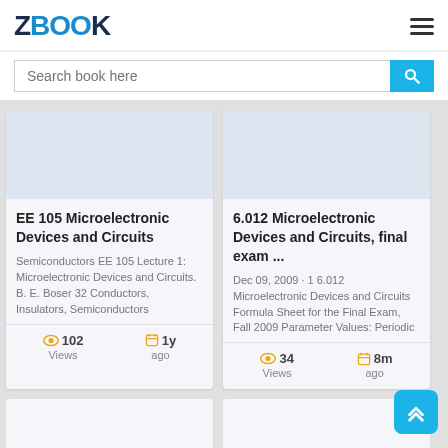ZBOOK
Search book here
EE 105 Microelectronic Devices and Circuits
Semiconductors EE 105 Lecture 1: Microelectronic Devices and Circuits. B. E. Boser 32 Conductors, Insulators, Semiconductors
102 Views  1y ago
6.012 Microelectronic Devices and Circuits, final exam ...
Dec 09, 2009 · 1 6.012 Microelectronic Devices and Circuits Formula Sheet for the Final Exam, Fall 2009 Parameter Values: Periodic
34 Views  8m ago